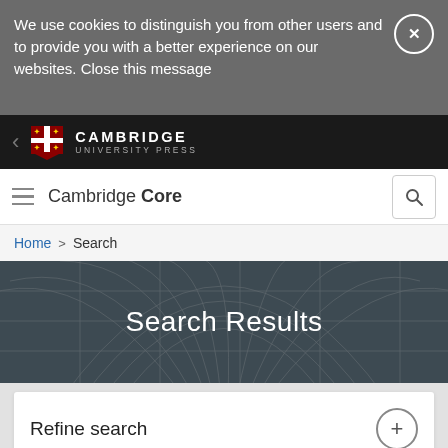We use cookies to distinguish you from other users and to provide you with a better experience on our websites. Close this message
[Figure (logo): Cambridge University Press logo with shield emblem and text CAMBRIDGE UNIVERSITY PRESS]
Cambridge Core
Home > Search
Search Results
Refine search